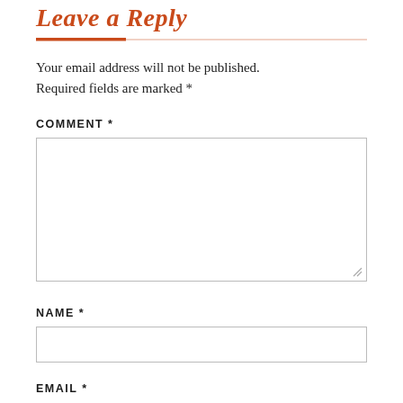Leave a Reply
Your email address will not be published. Required fields are marked *
COMMENT *
[Figure (other): Large textarea form field for comment input with resize handle]
NAME *
[Figure (other): Single-line text input form field for name]
EMAIL *